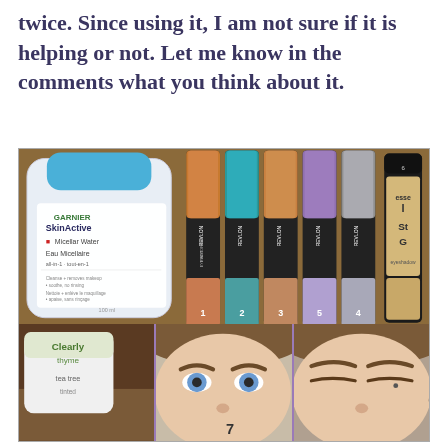twice. Since using it, I am not sure if it is helping or not. Let me know in the comments what you think about it.
[Figure (photo): Collage of makeup products: top section shows a Garnier SkinActive Micellar Water bottle on the left and five Revlon Photoready Eye Art pencils numbered 1-5 plus an Essence I Love Stage eyeshadow numbered 6 on the right, all on a cork board background. Bottom left shows a Clearly brand product with a green applicator labeled 7. Bottom middle shows a woman's face with blue eyes and eyebrows labeled 7. Bottom right shows a woman's face with closed eyes labeled 6.]